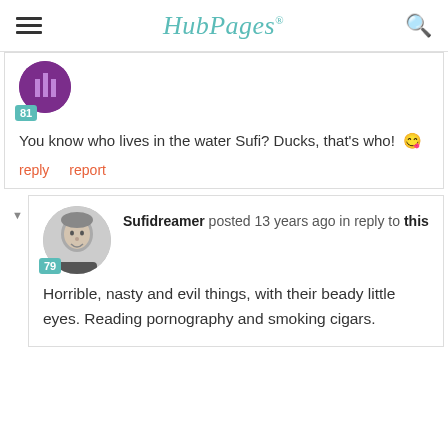HubPages
[Figure (illustration): Purple circular avatar with score badge 81]
You know who lives in the water Sufi? Ducks, that's who! 😜
reply   report
[Figure (photo): Black and white photo of older man smiling, with score badge 79]
Sufidreamer posted 13 years ago in reply to this
Horrible, nasty and evil things, with their beady little eyes. Reading pornography and smoking cigars.